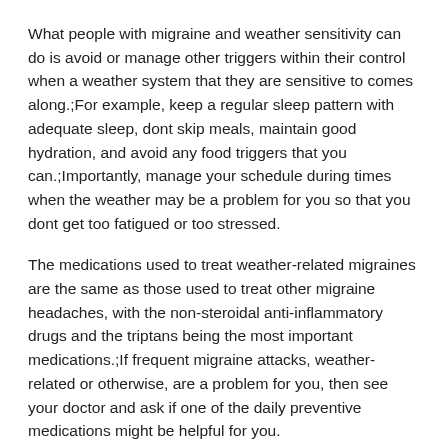What people with migraine and weather sensitivity can do is avoid or manage other triggers within their control when a weather system that they are sensitive to comes along.;For example, keep a regular sleep pattern with adequate sleep, dont skip meals, maintain good hydration, and avoid any food triggers that you can.;Importantly, manage your schedule during times when the weather may be a problem for you so that you dont get too fatigued or too stressed.
The medications used to treat weather-related migraines are the same as those used to treat other migraine headaches, with the non-steroidal anti-inflammatory drugs and the triptans being the most important medications.;If frequent migraine attacks, weather-related or otherwise, are a problem for you, then see your doctor and ask if one of the daily preventive medications might be helpful for you.